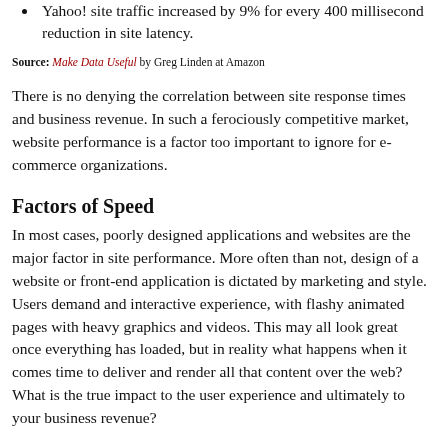Yahoo! site traffic increased by 9% for every 400 millisecond reduction in site latency.
Source: Make Data Useful by Greg Linden at Amazon
There is no denying the correlation between site response times and business revenue. In such a ferociously competitive market, website performance is a factor too important to ignore for e-commerce organizations.
Factors of Speed
In most cases, poorly designed applications and websites are the major factor in site performance. More often than not, design of a website or front-end application is dictated by marketing and style. Users demand and interactive experience, with flashy animated pages with heavy graphics and videos. This may all look great once everything has loaded, but in reality what happens when it comes time to deliver and render all that content over the web? What is the true impact to the user experience and ultimately to your business revenue?